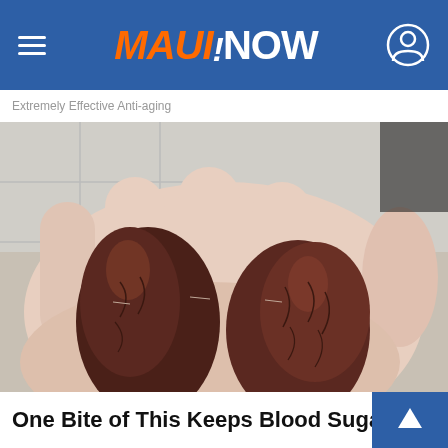MAUINOW
Extremely Effective Anti-aging
[Figure (photo): Close-up photo of two large Medjool dates resting in an open human palm, showing dark brown wrinkled skin texture against pale skin background.]
One Bite of This Keeps Blood Sugar B